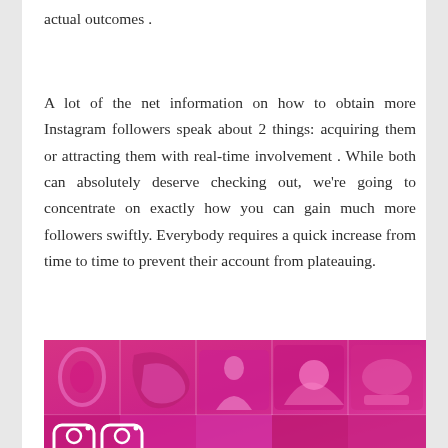actual outcomes .
A lot of the net information on how to obtain more Instagram followers speak about 2 things: acquiring them or attracting them with real-time involvement . While both can absolutely deserve checking out, we're going to concentrate on exactly how you can gain much more followers swiftly. Everybody requires a quick increase from time to time to prevent their account from plateauing.
[Figure (illustration): Pink and magenta Instagram-themed decorative banner with grid of abstract image tiles and partial Instagram logo visible at the bottom.]